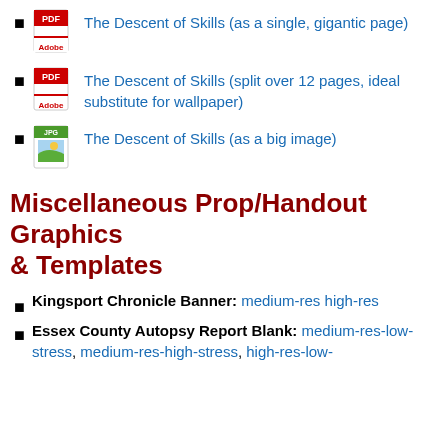The Descent of Skills (as a single, gigantic page)
The Descent of Skills (split over 12 pages, ideal substitute for wallpaper)
The Descent of Skills (as a big image)
Miscellaneous Prop/Handout Graphics & Templates
Kingsport Chronicle Banner: medium-res high-res
Essex County Autopsy Report Blank: medium-res-low-stress, medium-res-high-stress, high-res-low-